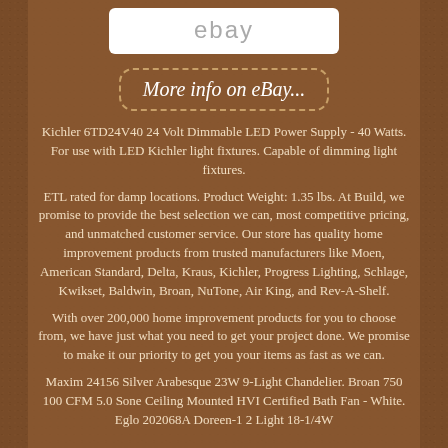[Figure (logo): eBay logo in white rounded rectangle box]
More info on eBay...
Kichler 6TD24V40 24 Volt Dimmable LED Power Supply - 40 Watts. For use with LED Kichler light fixtures. Capable of dimming light fixtures.
ETL rated for damp locations. Product Weight: 1.35 lbs. At Build, we promise to provide the best selection we can, most competitive pricing, and unmatched customer service. Our store has quality home improvement products from trusted manufacturers like Moen, American Standard, Delta, Kraus, Kichler, Progress Lighting, Schlage, Kwikset, Baldwin, Broan, NuTone, Air King, and Rev-A-Shelf.
With over 200,000 home improvement products for you to choose from, we have just what you need to get your project done. We promise to make it our priority to get you your items as fast as we can.
Maxim 24156 Silver Arabesque 23W 9-Light Chandelier. Broan 750 100 CFM 5.0 Sone Ceiling Mounted HVI Certified Bath Fan - White. Eglo 202068A Doreen-1 2 Light 18-1/4W